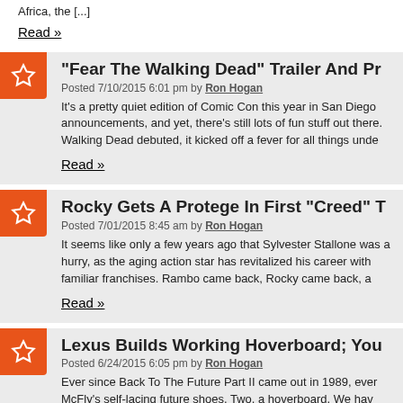Africa, the [...]
Read »
"Fear The Walking Dead" Trailer And Pr
Posted 7/10/2015 6:01 pm by Ron Hogan
It's a pretty quiet edition of Comic Con this year in San Diego announcements, and yet, there's still lots of fun stuff out there. Walking Dead debuted, it kicked off a fever for all things unde...
Read »
Rocky Gets A Protege In First "Creed" T
Posted 7/01/2015 8:45 am by Ron Hogan
It seems like only a few years ago that Sylvester Stallone was a hurry, as the aging action star has revitalized his career with familiar franchises.  Rambo came back, Rocky came back, a...
Read »
Lexus Builds Working Hoverboard; You
Posted 6/24/2015 6:05 pm by Ron Hogan
Ever since Back To The Future Part II came out in 1989, ever McFly's self-lacing future shoes.  Two, a hoverboard.  We hav lookalikes of Marty's shoes released for Back To The Futu...